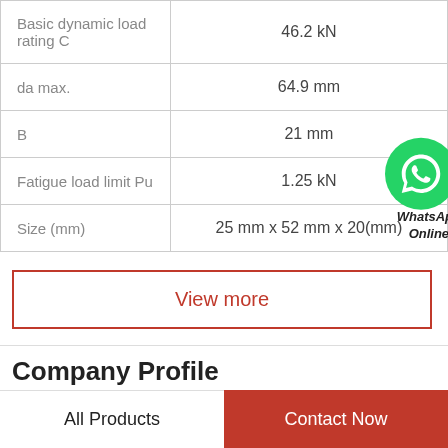| Property | Value |
| --- | --- |
| Basic dynamic load rating C | 46.2 kN |
| da max. | 64.9 mm |
| B | 21 mm |
| Fatigue load limit Pu | 1.25 kN |
| Size (mm) | 25 mm x 52 mm x 20(mm) |
View more
Company Profile
All Products | Contact Now